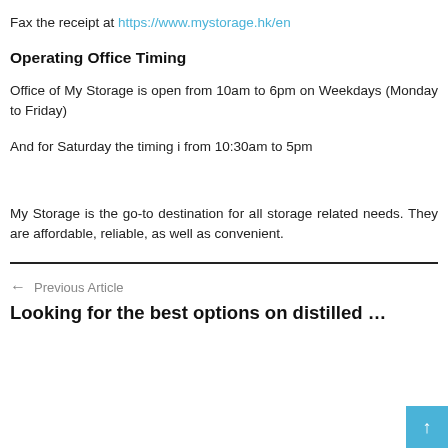Fax the receipt at https://www.mystorage.hk/en
Operating Office Timing
Office of My Storage is open from 10am to 6pm on Weekdays (Monday to Friday)
And for Saturday the timing i from 10:30am to 5pm
My Storage is the go-to destination for all storage related needs. They are affordable, reliable, as well as convenient.
← Previous Article
Looking for the best options on distilled …